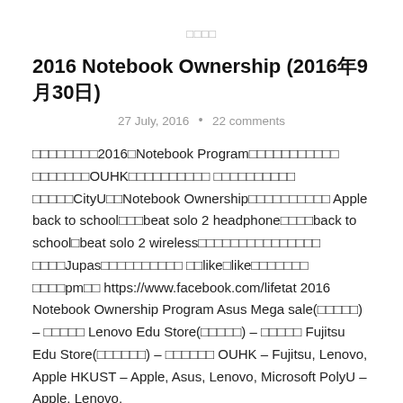□□□□
2016 Notebook Ownership (2016年9月30日)
27 July, 2016 • 22 comments
□□□□□□□□2016□Notebook Program□□□□□□□□□□□ □□□□□□□OUHK□□□□□□□□□□ □□□□□□□□□□ □□□□□CityU□□Notebook Ownership□□□□□□□□□□ Apple back to school□□□beat solo 2 headphone□□□□back to school□beat solo 2 wireless□□□□□□□□□□□□□□□ □□□□Jupas□□□□□□□□□□ □□like□like□□□□□□□ □□□□pm□□ https://www.facebook.com/lifetat 2016 Notebook Ownership Program Asus Mega sale(□□□□□) – □□□□□ Lenovo Edu Store(□□□□□) – □□□□□ Fujitsu Edu Store(□□□□□□) – □□□□□□ OUHK – Fujitsu, Lenovo, Apple HKUST – Apple, Asus, Lenovo, Microsoft PolyU – Apple, Lenovo,